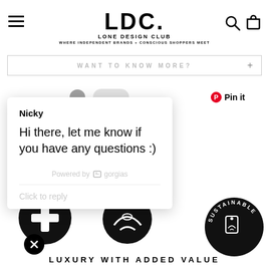LDC. LONE DESIGN CLUB — WHERE INDEPENDENT BRANDS + CONSCIOUS SHOPPERS MEET
WANT TO KNOW MORE?
Pin it
Nicky
Hi there, let me know if you have any questions :)
Powered by gorgias
Click to reply
[Figure (illustration): Three circular black badge icons (independent brand badge, hands holding badge, sustainable product badge with tag and leaf)]
LUXURY WITH ADDED VALUE